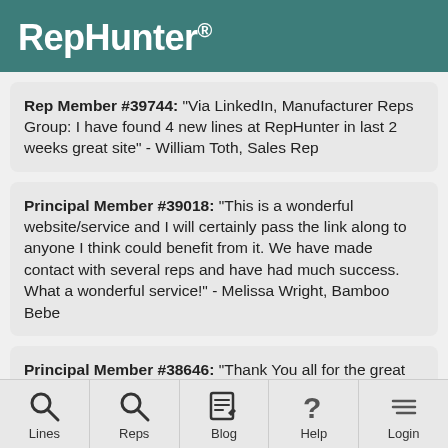RepHunter®
Rep Member #39744: "Via LinkedIn, Manufacturer Reps Group: I have found 4 new lines at RepHunter in last 2 weeks great site" - William Toth, Sales Rep
Principal Member #39018: "This is a wonderful website/service and I will certainly pass the link along to anyone I think could benefit from it. We have made contact with several reps and have had much success. What a wonderful service!" - Melissa Wright, Bamboo Bebe
Principal Member #38646: "Thank You all for the great service. With your help my business has vaulted in the last 30 days. I'm now talking to 20 reps that want to take on my line. I'm suspending the service for now so I can organize and keep it all straight. I know because of you guys my business
Lines | Reps | Blog | Help | Login